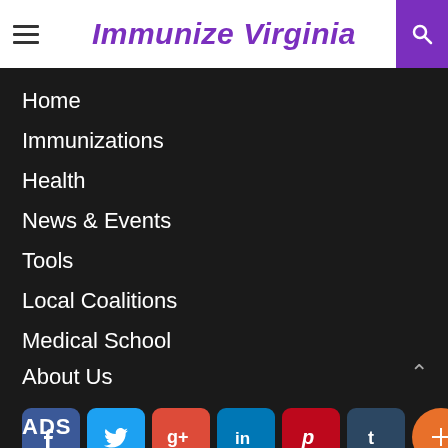Immunize Virginia
Home
Immunizations
Health
News & Events
Tools
Local Coalitions
Medical School
About Us
Contact Us
[Figure (infographic): Social media icon buttons: Facebook, Twitter, Google+, LinkedIn, Pinterest, Tumblr, and a plus/more button]
ADS